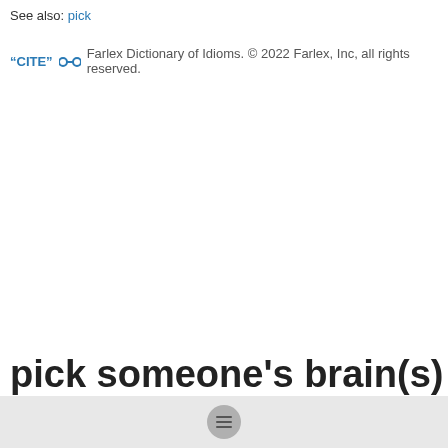See also: pick
“CITE” 🔗 Farlex Dictionary of Idioms. © 2022 Farlex, Inc, all rights reserved.
pick someone's brain(s)